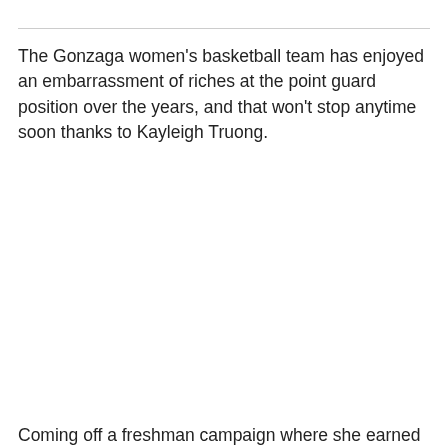The Gonzaga women's basketball team has enjoyed an embarrassment of riches at the point guard position over the years, and that won't stop anytime soon thanks to Kayleigh Truong.
Coming off a freshman campaign where she earned